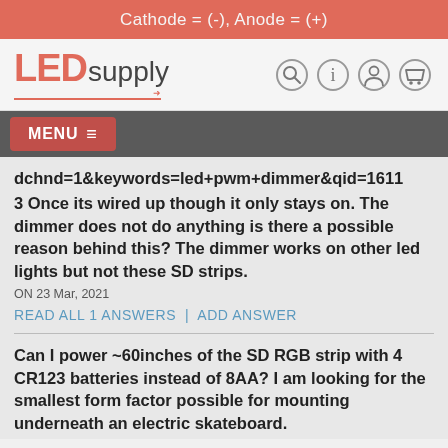Cathode = (-), Anode = (+)
[Figure (logo): LEDsupply logo with red LED text and grey supply text, with navigation icons]
MENU ≡
dchnd=1&keywords=led+pwm+dimmer&qid=1611... 3 Once its wired up though it only stays on. The dimmer does not do anything is there a possible reason behind this? The dimmer works on other led lights but not these SD strips.
ON 23 Mar, 2021
READ ALL 1 ANSWERS | ADD ANSWER
Can I power ~60inches of the SD RGB strip with 4 CR123 batteries instead of 8AA? I am looking for the smallest form factor possible for mounting underneath an electric skateboard.